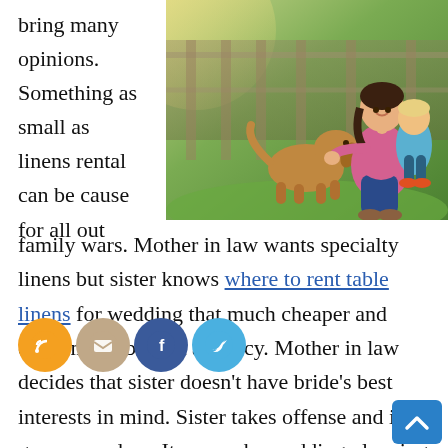bring many opinions. Something as small as linens rental can be cause for all out
[Figure (photo): A woman kneeling on grass with a young child and a golden/brown dog outdoors]
family wars. Mother in law wants specialty linens but sister knows where to rent table linens for wedding that much cheaper and economical but not as fancy. Mother in law decides that sister doesn't have bride's best interests in mind. Sister takes offense and it goes on and on. It can make wedding planning an absolute nightmare instead of the joy it should be. Here are some tips to avoid fights...